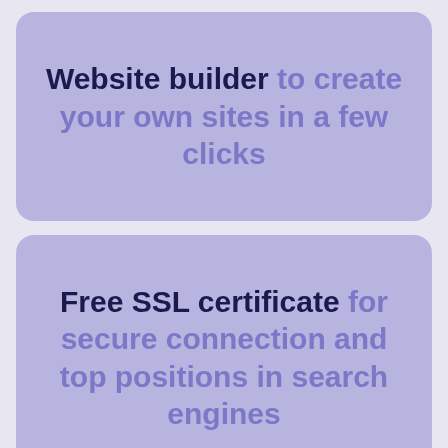Website builder to create your own sites in a few clicks
Free SSL certificate for secure connection and top positions in search engines